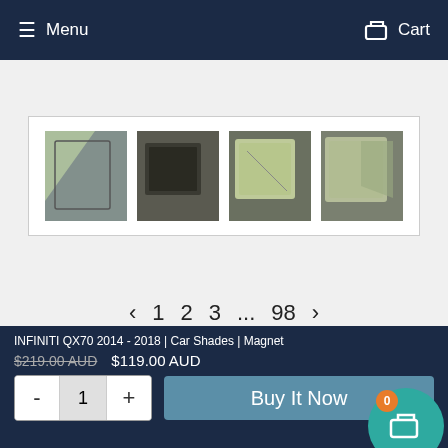Menu   Cart
[Figure (photo): Four thumbnail photos of magnetic car shades installed on car windows]
◂ 1 2 3 ... 98 ▸
Magnetic Car Shades Factory Outlet, Get 50% RRP.
INFINITI QX70 2014 - 2018 | Car Shades | Magnet
$219.00 AUD  $119.00 AUD
- 1 +  Buy It Now